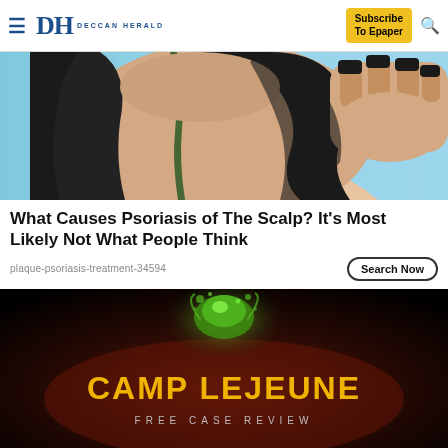Deccan Herald — Subscribe To Epaper
[Figure (photo): Woman with dark hair and black nails touching her scalp against a light blue background]
What Causes Psoriasis of The Scalp? It’s Most Likely Not What People Think
plaque-psoriasis-treatment-34594
[Figure (advertisement): Camp Lejeune Free Case Review advertisement with yellow text on dark background and green glowing object]
[Figure (advertisement): The Perspective — See What You're Missing advertisement with READ MORE button]